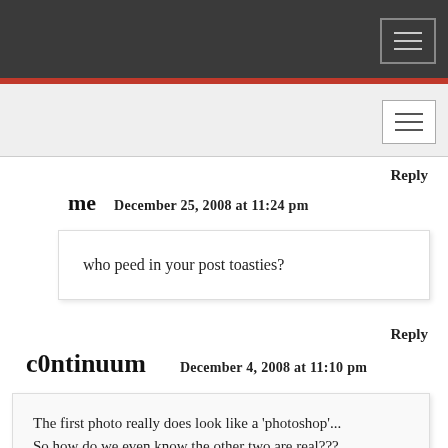[Navigation bar - dark background with hamburger menu icon]
[Sub-navigation bar - light grey background with hamburger menu icon]
Reply
me   December 25, 2008 at 11:24 pm
who peed in your post toasties?
Reply
c0ntinuum   December 4, 2008 at 11:10 pm
The first photo really does look like a 'photoshop'... So how do we even know the other two are real???